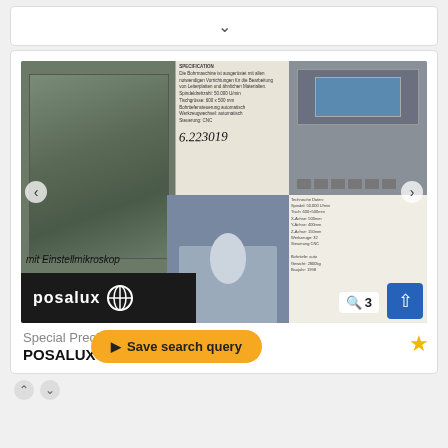[Figure (other): Collapsed/minimized card with chevron down arrow at top of page]
[Figure (photo): Collage of multiple photos showing a Posalux Special Precision Boring Machine. Left photo shows green machine body with handwritten caption 'mit Einstellmikroskop'. Top center is a specification document with handwritten number '6.223019'. Top right shows a CNC control panel with buttons. Bottom center shows detail of machine spindle area. Right side shows printed specification sheet with technical details. Posalux logo bar at bottom left of image area.]
mit Einstellmikroskop
Special Precision Boring Machine
POSALUX
Save search query